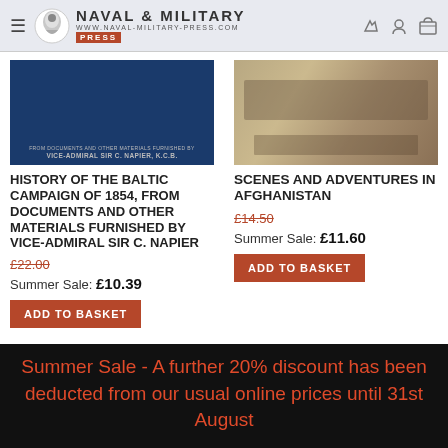[Figure (screenshot): Naval & Military Press website header with logo, hamburger menu, and icons]
[Figure (photo): Book cover: History of the Baltic Campaign of 1854, dark blue with text from Vice-Admiral Sir C. Napier]
HISTORY OF THE BALTIC CAMPAIGN OF 1854, FROM DOCUMENTS AND OTHER MATERIALS FURNISHED BY VICE-ADMIRAL SIR C. NAPIER
£22.00 (strikethrough) Summer Sale: £10.39
ADD TO BASKET
[Figure (photo): Book cover: Scenes and Adventures in Afghanistan, sepia toned landscape photograph]
SCENES AND ADVENTURES IN AFGHANISTAN
£14.50 (strikethrough) Summer Sale: £11.60
ADD TO BASKET
[Figure (photo): Bottom left partial book cover showing text 'THE MUTINY']
[Figure (screenshot): Bottom right black panel with pencil icon and red close button]
Summer Sale - A further 20% discount has been deducted from our usual online prices until 31st August